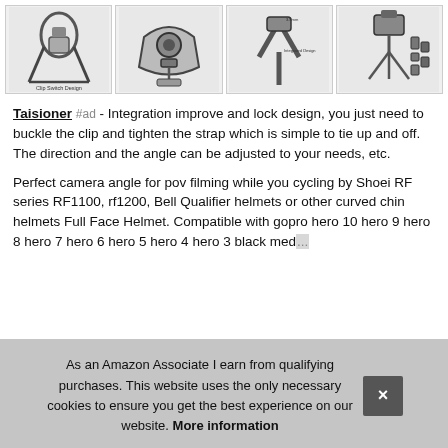[Figure (photo): Four product images showing a camera chest/helmet mount harness system: 1) Clip Switch Design with harness on person, 2) close-up of chin mount bracket, 3) chest harness with Integrated Design label and 3.5mm note, 4) standalone mount with accessories]
Taisioner #ad - Integration improve and lock design, you just need to buckle the clip and tighten the strap which is simple to tie up and off. The direction and the angle can be adjusted to your needs, etc.
Perfect camera angle for pov filming while you cycling by Shoei RF series RF1100, rf1200, Bell Qualifier helmets or other curved chin helmets Full Face Helmet. Compatible with gopro hero 10 hero 9 hero 8 hero 7 hero 6 hero 5 hero 4 hero 3 black med... AKA... Cam... cam...
As an Amazon Associate I earn from qualifying purchases. This website uses the only necessary cookies to ensure you get the best experience on our website. More information